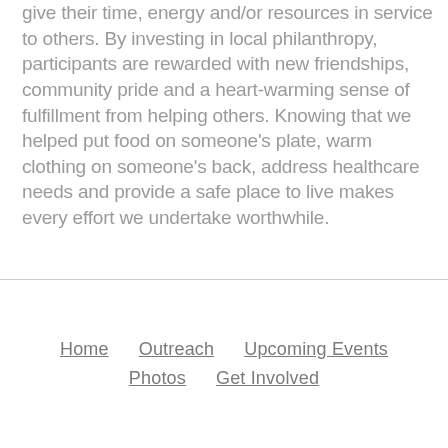give their time, energy and/or resources in service to others. By investing in local philanthropy, participants are rewarded with new friendships, community pride and a heart-warming sense of fulfillment from helping others. Knowing that we helped put food on someone's plate, warm clothing on someone's back, address healthcare needs and provide a safe place to live makes every effort we undertake worthwhile.
Home | Outreach | Upcoming Events | Photos | Get Involved